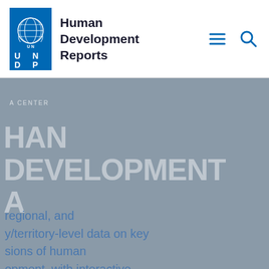Human Development Reports
[Figure (logo): UNDP logo - United Nations Development Programme globe emblem with UNDP letters on blue background]
A CENTER
HAN DEVELOPMENT A
regional, and y/territory-level data on key sions of human opment, with interactive